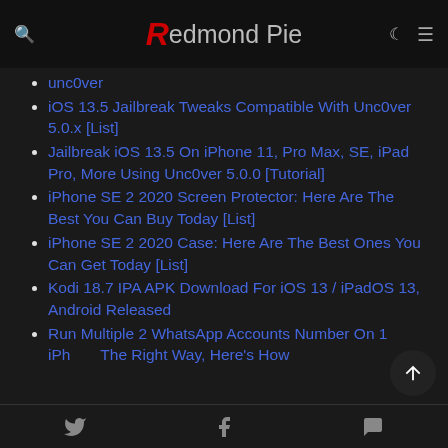Redmond Pie
unc0ver (partial, top cut off)
iOS 13.5 Jailbreak Tweaks Compatible With Unc0ver 5.0.x [List]
Jailbreak iOS 13.5 On iPhone 11, Pro Max, SE, iPad Pro, More Using Unc0ver 5.0.0 [Tutorial]
iPhone SE 2 2020 Screen Protector: Here Are The Best You Can Buy Today [List]
iPhone SE 2 2020 Case: Here Are The Best Ones You Can Get Today [List]
Kodi 18.7 IPA APK Download For iOS 13 / iPadOS 13, Android Released
Run Multiple 2 WhatsApp Accounts Number On 1 iPhone The Right Way, Here's How
Twitter | Facebook | WhatsApp